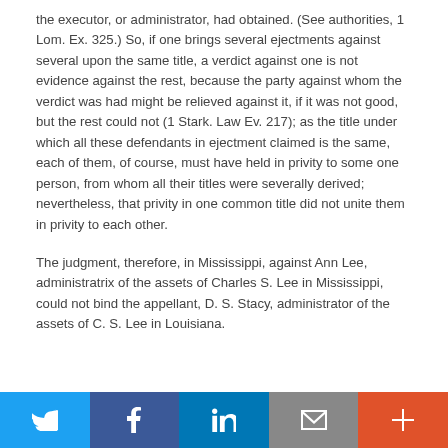the executor, or administrator, had obtained. (See authorities, 1 Lom. Ex. 325.) So, if one brings several ejectments against several upon the same title, a verdict against one is not evidence against the rest, because the party against whom the verdict was had might be relieved against it, if it was not good, but the rest could not (1 Stark. Law Ev. 217); as the title under which all these defendants in ejectment claimed is the same, each of them, of course, must have held in privity to some one person, from whom all their titles were severally derived; nevertheless, that privity in one common title did not unite them in privity to each other.
The judgment, therefore, in Mississippi, against Ann Lee, administratrix of the assets of Charles S. Lee in Mississippi, could not bind the appellant, D. S. Stacy, administrator of the assets of C. S. Lee in Louisiana.
Share icons: Twitter, Facebook, LinkedIn, Email, Plus